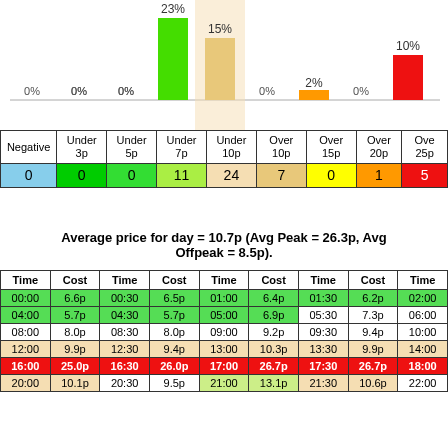[Figure (bar-chart): Distribution of half-hour prices]
| Negative | Under 3p | Under 5p | Under 7p | Under 10p | Over 10p | Over 15p | Over 20p | Over 25p |
| --- | --- | --- | --- | --- | --- | --- | --- | --- |
| 0 | 0 | 0 | 11 | 24 | 7 | 0 | 1 | 5 |
Average price for day = 10.7p (Avg Peak = 26.3p, Avg Offpeak = 8.5p).
| Time | Cost | Time | Cost | Time | Cost | Time | Cost | Time |
| --- | --- | --- | --- | --- | --- | --- | --- | --- |
| 00:00 | 6.6p | 00:30 | 6.5p | 01:00 | 6.4p | 01:30 | 6.2p | 02:00 |
| 04:00 | 5.7p | 04:30 | 5.7p | 05:00 | 6.9p | 05:30 | 7.3p | 06:00 |
| 08:00 | 8.0p | 08:30 | 8.0p | 09:00 | 9.2p | 09:30 | 9.4p | 10:00 |
| 12:00 | 9.9p | 12:30 | 9.4p | 13:00 | 10.3p | 13:30 | 9.9p | 14:00 |
| 16:00 | 25.0p | 16:30 | 26.0p | 17:00 | 26.7p | 17:30 | 26.7p | 18:00 |
| 20:00 | 10.1p | 20:30 | 9.5p | 21:00 | 13.1p | 21:30 | 10.6p | 22:00 |